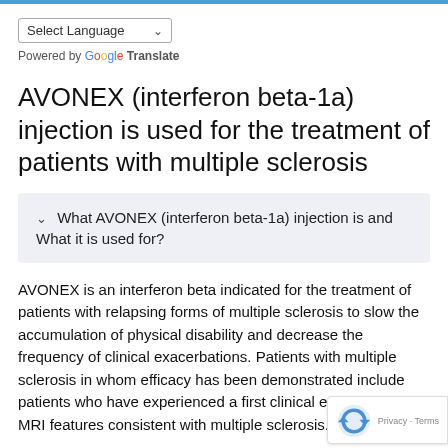[Figure (screenshot): Language selector dropdown showing 'Select Language' with a chevron, and 'Powered by Google Translate' below]
AVONEX (interferon beta-1a) injection is used for the treatment of patients with multiple sclerosis
What AVONEX (interferon beta-1a) injection is and What it is used for?
AVONEX is an interferon beta indicated for the treatment of patients with relapsing forms of multiple sclerosis to slow the accumulation of physical disability and decrease the frequency of clinical exacerbations. Patients with multiple sclerosis in whom efficacy has been demonstrated include patients who have experienced a first clinical epis and have MRI features consistent with multiple sclerosis.